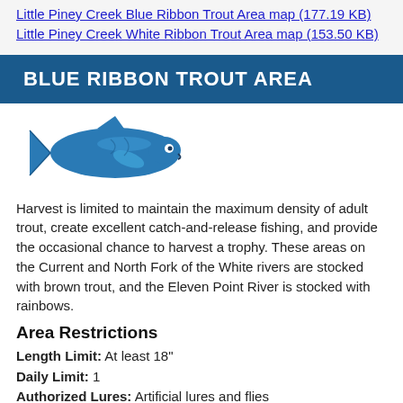Little Piney Creek Blue Ribbon Trout Area map (177.19 KB)
Little Piney Creek White Ribbon Trout Area map (153.50 KB)
BLUE RIBBON TROUT AREA
[Figure (illustration): Blue fish/trout icon illustration]
Harvest is limited to maintain the maximum density of adult trout, create excellent catch-and-release fishing, and provide the occasional chance to harvest a trophy. These areas on the Current and North Fork of the White rivers are stocked with brown trout, and the Eleven Point River is stocked with rainbows.
Area Restrictions
Length Limit: At least 18"
Daily Limit: 1
Authorized Lures: Artificial lures and flies